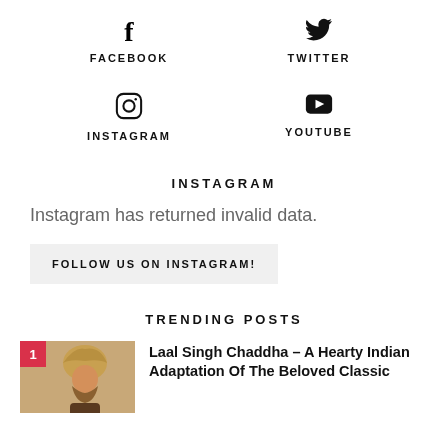[Figure (logo): Facebook social media icon with label FACEBOOK]
[Figure (logo): Twitter bird icon with label TWITTER]
[Figure (logo): Instagram camera icon with label INSTAGRAM]
[Figure (logo): YouTube play button icon with label YOUTUBE]
INSTAGRAM
Instagram has returned invalid data.
FOLLOW US ON INSTAGRAM!
TRENDING POSTS
[Figure (photo): Thumbnail image of a Sikh man with turban, numbered 1]
Laal Singh Chaddha – A Hearty Indian Adaptation Of The Beloved Classic